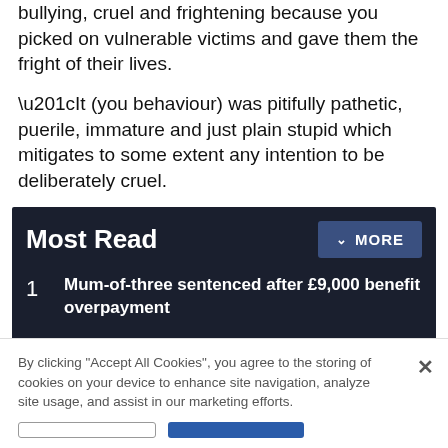bullying, cruel and frightening because you picked on vulnerable victims and gave them the fright of their lives.
“It (you behaviour) was pitifully pathetic, puerile, immature and just plain stupid which mitigates to some extent any intention to be deliberately cruel.
Most Read
1 Mum-of-three sentenced after £9,000 benefit overpayment
2 Car rolls down hill after thief takes off handbrake in east Suffolk village
By clicking “Accept All Cookies”, you agree to the storing of cookies on your device to enhance site navigation, analyze site usage, and assist in our marketing efforts.